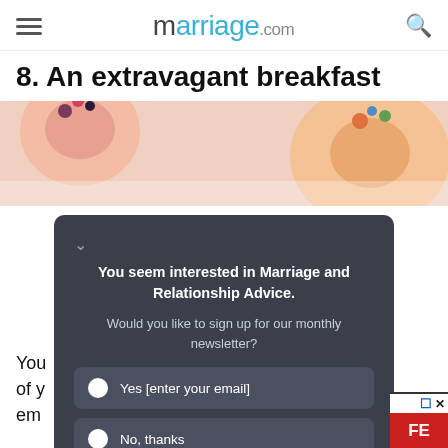marriage.com
8. An extravagant breakfast
[Figure (photo): Colorful decorated pastries/donuts with fruits from above]
You seem interested in Marriage and Relationship Advice.
Would you like to sign up for our monthly newsletter?
Yes [enter your email]
No, thanks
You... est days of y... an em...